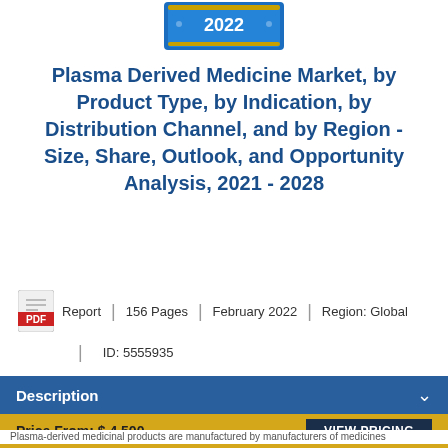[Figure (illustration): Book/report cover image showing '2022' text on a blue decorative design, partially visible at the top of the page]
Plasma Derived Medicine Market, by Product Type, by Indication, by Distribution Channel, and by Region - Size, Share, Outlook, and Opportunity Analysis, 2021 - 2028
Report | 156 Pages | February 2022 | Region: Global
ID: 5555935
Description
Price From: $ 4,500   VIEW PRICING
Plasma-derived medicinal products are manufactured by manufacturers of medicines